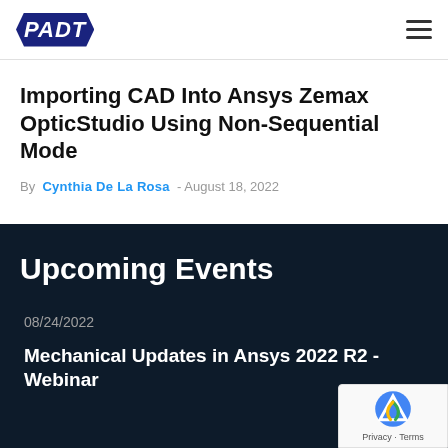[Figure (logo): PADT logo — diamond/hexagon shape with white PADT text on dark navy background]
Importing CAD Into Ansys Zemax OpticStudio Using Non-Sequential Mode
By Cynthia De La Rosa - August 18, 2022
Upcoming Events
08/24/2022
Mechanical Updates in Ansys 2022 R2 - Webinar